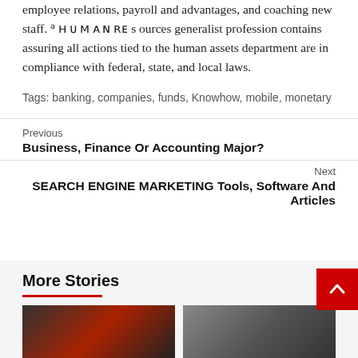employee relations, payroll and advantages, and coaching new staff. A Human Resources generalist profession contains assuring all actions tied to the human assets department are in compliance with federal, state, and local laws.
Tags: banking, companies, funds, Knowhow, mobile, monetary
Previous
Business, Finance Or Accounting Major?
Next
SEARCH ENGINE MARKETING Tools, Software And Articles
More Stories
[Figure (photo): Two dark book or device images on left side]
[Figure (photo): Dark grey gradient image on right side]